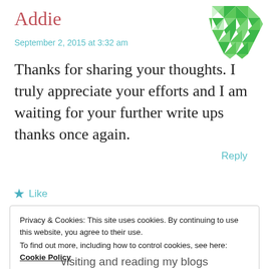Addie
September 2, 2015 at 3:32 am
[Figure (illustration): Green geometric/diamond pattern avatar icon in top right corner]
Reply
Thanks for sharing your thoughts. I truly appreciate your efforts and I am waiting for your further write ups thanks once again.
★ Like
Privacy & Cookies: This site uses cookies. By continuing to use this website, you agree to their use.
To find out more, including how to control cookies, see here: Cookie Policy
Close and accept
visiting and reading my blogs